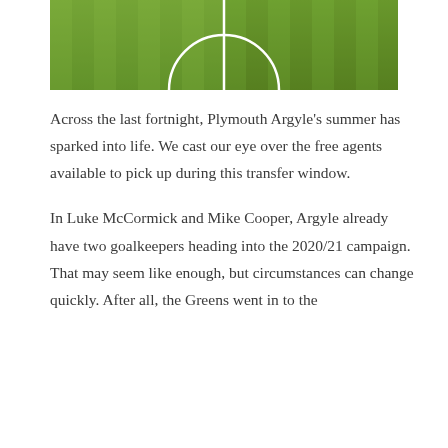[Figure (photo): Aerial view of a football pitch showing green grass and white centre circle line]
Across the last fortnight, Plymouth Argyle's summer has sparked into life. We cast our eye over the free agents available to pick up during this transfer window.
In Luke McCormick and Mike Cooper, Argyle already have two goalkeepers heading into the 2020/21 campaign. That may seem like enough, but circumstances can change quickly. After all, the Greens went in to the 2019/20 season thinking they…